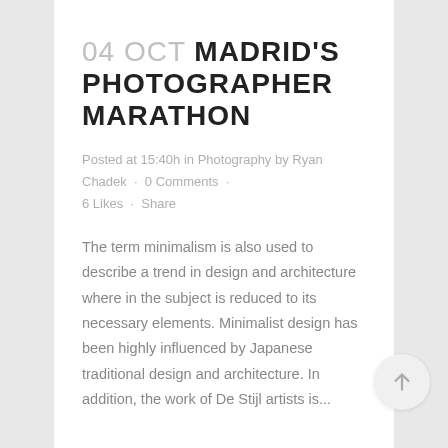04 OCT MADRID'S PHOTOGRAPHER MARATHON
Posted at 15:40h in Photography by Ryan Chadek · 0 Comments · 6 Likes · Share
The term minimalism is also used to describe a trend in design and architecture where in the subject is reduced to its necessary elements. Minimalist design has been highly influenced by Japanese traditional design and architecture. In addition, the work of De Stijl artists is...